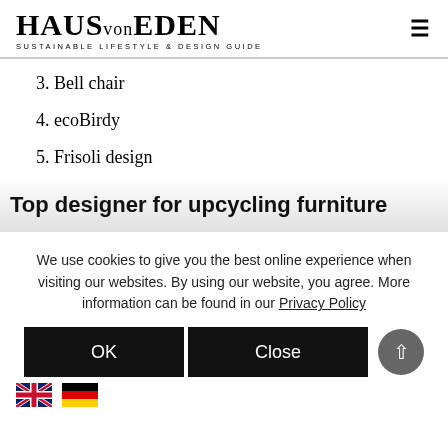HAUS von EDEN — SUSTAINABLE LIFESTYLE & DESIGN GUIDE
3. Bell chair
4. ecoBirdy
5. Frisoli design
Top designer for upcycling furniture
We use cookies to give you the best online experience when visiting our websites. By using our website, you agree. More information can be found in our Privacy Policy
OK   Close